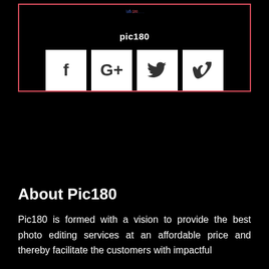[Figure (logo): Pic180 logo with stylized text showing 'pic180' and tagline 'restore • renew • revive' in blue/red neon style on black background]
pic180
[Figure (infographic): Four social media icons: Facebook (f), Google+ (G+), Twitter (bird), Vimeo (v) as white square buttons]
About Pic180
Pic180 is formed with a vision to provide the best photo editing services at an affordable price and thereby facilitate the customers with impactful